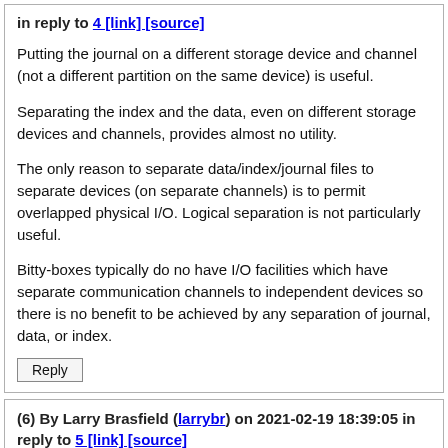in reply to 4 [link] [source]
Putting the journal on a different storage device and channel (not a different partition on the same device) is useful.
Separating the index and the data, even on different storage devices and channels, provides almost no utility.
The only reason to separate data/index/journal files to separate devices (on separate channels) is to permit overlapped physical I/O. Logical separation is not particularly useful.
Bitty-boxes typically do no have I/O facilities which have separate communication channels to independent devices so there is no benefit to be achieved by any separation of journal, data, or index.
Reply
(6) By Larry Brasfield (larrybr) on 2021-02-19 18:39:05 in reply to 5 [link] [source]
Separating the index and the data, even on